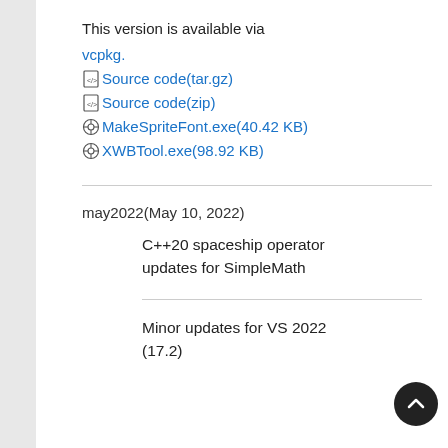This version is available via
vcpkg.
Source code(tar.gz)
Source code(zip)
MakeSpriteFont.exe(40.42 KB)
XWBTool.exe(98.92 KB)
may2022(May 10, 2022)
C++20 spaceship operator updates for SimpleMath
Minor updates for VS 2022 (17.2)